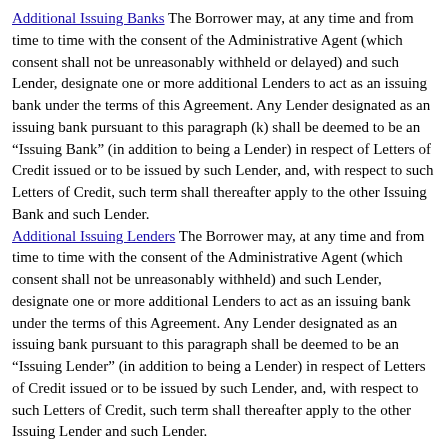Additional Issuing Banks The Borrower may, at any time and from time to time with the consent of the Administrative Agent (which consent shall not be unreasonably withheld or delayed) and such Lender, designate one or more additional Lenders to act as an issuing bank under the terms of this Agreement. Any Lender designated as an issuing bank pursuant to this paragraph (k) shall be deemed to be an “Issuing Bank” (in addition to being a Lender) in respect of Letters of Credit issued or to be issued by such Lender, and, with respect to such Letters of Credit, such term shall thereafter apply to the other Issuing Bank and such Lender.
Additional Issuing Lenders The Borrower may, at any time and from time to time with the consent of the Administrative Agent (which consent shall not be unreasonably withheld) and such Lender, designate one or more additional Lenders to act as an issuing bank under the terms of this Agreement. Any Lender designated as an issuing bank pursuant to this paragraph shall be deemed to be an “Issuing Lender” (in addition to being a Lender) in respect of Letters of Credit issued or to be issued by such Lender, and, with respect to such Letters of Credit, such term shall thereafter apply to the other Issuing Lender and such Lender.
Plans & Pricing
Individual Subscription
Law Insider for Teams
Education and Government